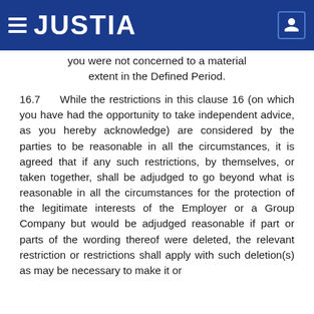JUSTIA
you were not concerned to a material extent in the Defined Period.
16.7   While the restrictions in this clause 16 (on which you have had the opportunity to take independent advice, as you hereby acknowledge) are considered by the parties to be reasonable in all the circumstances, it is agreed that if any such restrictions, by themselves, or taken together, shall be adjudged to go beyond what is reasonable in all the circumstances for the protection of the legitimate interests of the Employer or a Group Company but would be adjudged reasonable if part or parts of the wording thereof were deleted, the relevant restriction or restrictions shall apply with such deletion(s) as may be necessary to make it or them valid and effective.